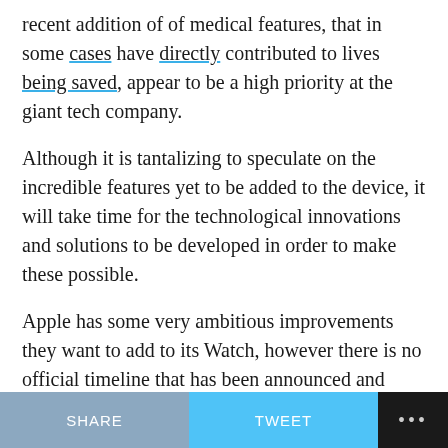recent addition of of medical features, that in some cases have directly contributed to lives being saved, appear to be a high priority at the giant tech company.
Although it is tantalizing to speculate on the incredible features yet to be added to the device, it will take time for the technological innovations and solutions to be developed in order to make these possible.
Apple has some very ambitious improvements they want to add to its Watch, however there is no official timeline that has been announced and most likely will not be expected before 2022.
Related Video:
[Figure (screenshot): Dark video thumbnail with a logo on the left and partially visible text reading 'A Day in the Life of High Motion...' with a gold circle on the right]
SHARE   TWEET   ...